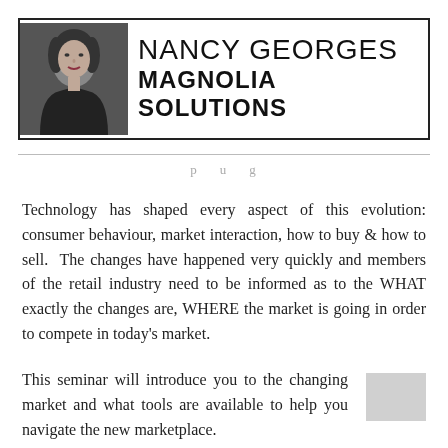[Figure (photo): Header banner with black-and-white photo of Nancy Georges on the left, and text 'NANCY GEORGES' and 'MAGNOLIA SOLUTIONS' on the right, all within a bordered box.]
Technology has shaped every aspect of this evolution: consumer behaviour, market interaction, how to buy & how to sell.  The changes have happened very quickly and members of the retail industry need to be informed as to the WHAT exactly the changes are, WHERE the market is going in order to compete in today's market.
This seminar will introduce you to the changing market and what tools are available to help you navigate the new marketplace.